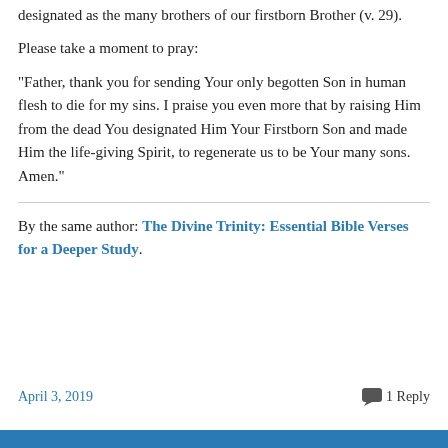designated as the many brothers of our firstborn Brother (v. 29).
Please take a moment to pray:
“Father, thank you for sending Your only begotten Son in human flesh to die for my sins. I praise you even more that by raising Him from the dead You designated Him Your Firstborn Son and made Him the life-giving Spirit, to regenerate us to be Your many sons. Amen.”
By the same author: The Divine Trinity: Essential Bible Verses for a Deeper Study.
April 3, 2019   1 Reply